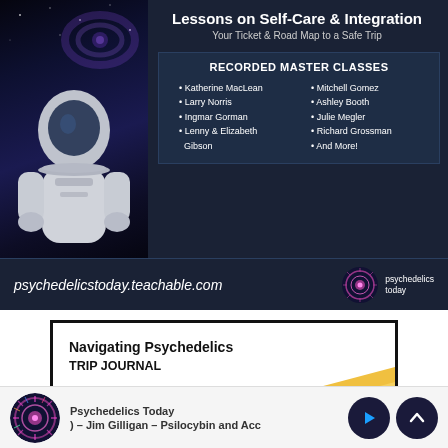Lessons on Self-Care & Integration
Your Ticket & Road Map to a Safe Trip
RECORDED MASTER CLASSES
Katherine MacLean
Larry Norris
Ingmar Gorman
Lenny & Elizabeth Gibson
Mitchell Gomez
Ashley Booth
Julie Megler
Richard Grossman
And More!
psychedelicstoday.teachable.com
psychedelics today
Navigating Psychedelics
TRIP JOURNAL
Psychedelics Today
) – Jim Gilligan – Psilocybin and Acc